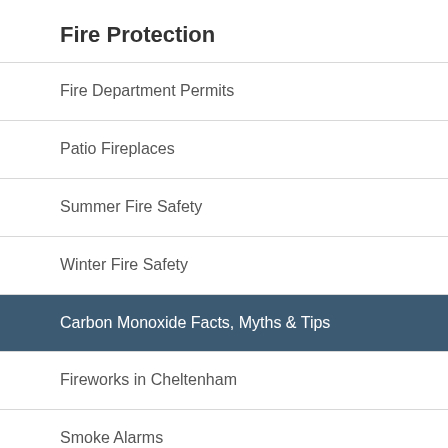Fire Protection
Fire Department Permits
Patio Fireplaces
Summer Fire Safety
Winter Fire Safety
Carbon Monoxide Facts, Myths & Tips
Fireworks in Cheltenham
Smoke Alarms
Thanksgiving Fire Safety Tips